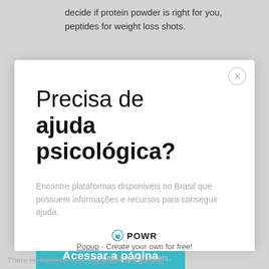decide if protein powder is right for you, peptides for weight loss shots.
[Figure (screenshot): Modal popup dialog with Portuguese text 'Precisa de ajuda psicológica?' and a teal call-to-action button 'Acessar a página', with a close (X) button, body text in gray, and POWR branding at the bottom.]
some supermarkets.
Popup - Create your own for free!
There is, however, one big problem regarding Winstrol. If taken regularly, as prescribed, it